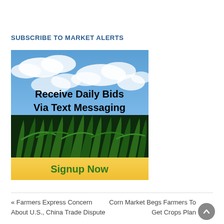SUBSCRIBE TO MARKET ALERTS
[Figure (illustration): Advertisement banner showing corn field with blue sky background. Text reads 'Receive Daily Bids Via Text Messaging' in bold black. Yellow button at bottom reads 'Signup Now' in green bold text.]
« Farmers Express Concern About U.S., China Trade Dispute
Corn Market Begs Farmers To Get Crops Plan